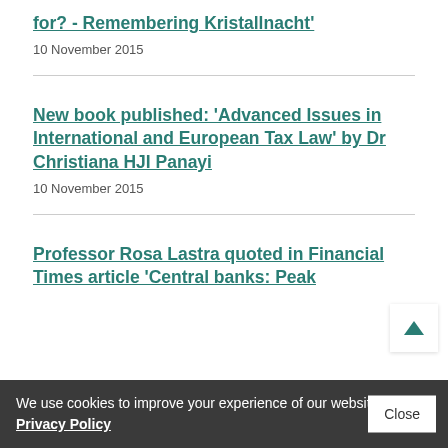for? - Remembering Kristallnacht'
10 November 2015
New book published: 'Advanced Issues in International and European Tax Law' by Dr Christiana HJI Panayi
10 November 2015
Professor Rosa Lastra quoted in Financial Times article 'Central banks: Peak
We use cookies to improve your experience of our website. Privacy Policy